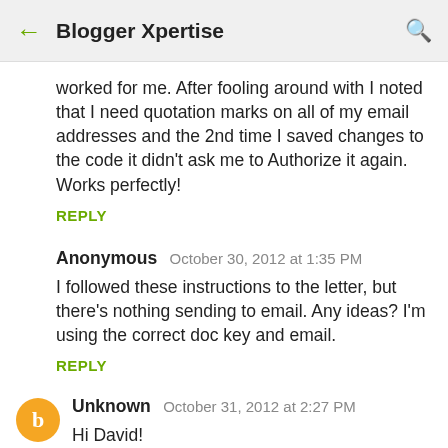← Blogger Xpertise 🔍
worked for me. After fooling around with I noted that I need quotation marks on all of my email addresses and the 2nd time I saved changes to the code it didn't ask me to Authorize it again. Works perfectly!
REPLY
Anonymous  October 30, 2012 at 1:35 PM
I followed these instructions to the letter, but there's nothing sending to email. Any ideas? I'm using the correct doc key and email.
REPLY
Unknown  October 31, 2012 at 2:27 PM
Hi David!
Your script is marvelous! It is exactly what I needed. I have one question though, is it